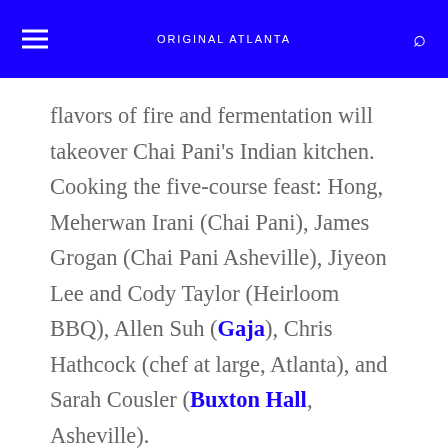ORIGINAL ATLANTA
flavors of fire and fermentation will takeover Chai Pani's Indian kitchen. Cooking the five-course feast: Hong, Meherwan Irani (Chai Pani), James Grogan (Chai Pani Asheville), Jiyeon Lee and Cody Taylor (Heirloom BBQ), Allen Suh (Gaja), Chris Hathcock (chef at large, Atlanta), and Sarah Cousler (Buxton Hall, Asheville).